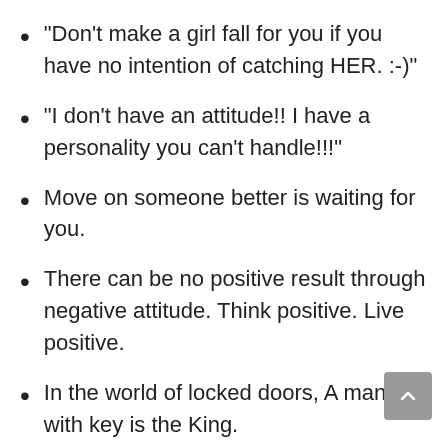“Don’t make a girl fall for you if you have no intention of catching HER. :-)”
“I don’t have an attitude!! I have a personality you can’t handle!!!”
Move on someone better is waiting for you.
There can be no positive result through negative attitude. Think positive. Live positive.
In the world of locked doors, A man with key is the King.
Be happy it drives people crazy